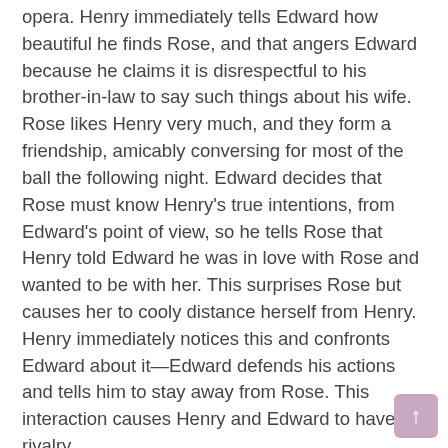opera. Henry immediately tells Edward how beautiful he finds Rose, and that angers Edward because he claims it is disrespectful to his brother-in-law to say such things about his wife. Rose likes Henry very much, and they form a friendship, amicably conversing for most of the ball the following night. Edward decides that Rose must know Henry's true intentions, from Edward's point of view, so he tells Rose that Henry told Edward he was in love with Rose and wanted to be with her. This surprises Rose but causes her to cooly distance herself from Henry. Henry immediately notices this and confronts Edward about it—Edward defends his actions and tells him to stay away from Rose. This interaction causes Henry and Edward to have a rivalry.
Albert has been keeping to himself as Rose goes on all of these social events, even though Rose would much rather him with her. He has been acting more melancholy and paranoid than usual, and it is affecting Rose negatively. Albert notices this and suggests that Rose visit her family in